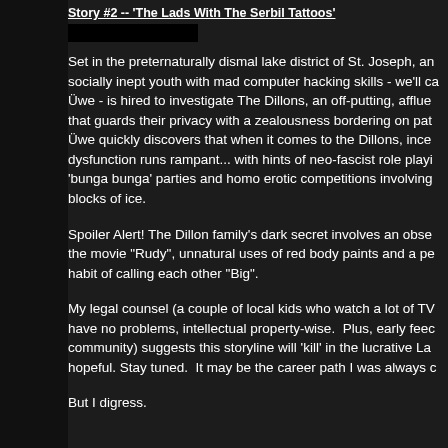Story #2 -- 'The Lads With The Serbil Tattoos'
[Figure (other): Redacted black rectangle covering a name or username]
Set in the preternaturally dismal lake district of St. Joseph, an socially inept youth with mad computer hacking skills - we'll ca Üwe - is hired to investigate The Dillons, an off-putting, afflue that guards their privacy with a zealousness bordering on pat Üwe quickly discovers that when it comes to the Dillons, ince dysfunction runs rampant... with hints of neo-fascist role playi 'bunga bunga' parties and homo erotic competitions involving blocks of ice.
Spoiler Alert! The Dillon family's dark secret involves an obse the movie "Rudy", unnatural uses of red body paints and a pe habit of calling each other "Big".
My legal counsel (a couple of local kids who watch a lot of TV have no problems, intellectual property-wise.  Plus, early feec community) suggests this storyline will 'kill' in the lucrative La hopeful. Stay tuned.  It may be the career path I was always c
But I digress.